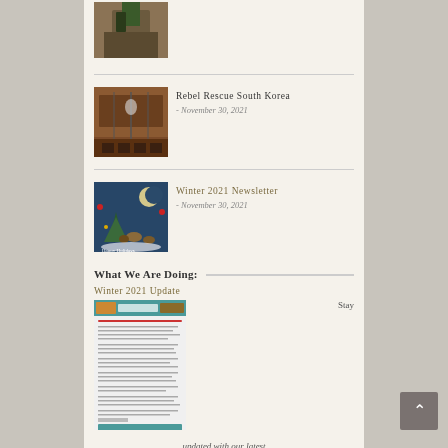[Figure (photo): Partial thumbnail of person at top of page]
[Figure (photo): Interior of barn-like structure with tables and lights]
Rebel Rescue South Korea
- November 30, 2021
[Figure (photo): Holiday image with dogs and winter decorations, text Happy Holidays]
Winter 2021 Newsletter
- November 30, 2021
What We Are Doing:
Winter 2021 Update
[Figure (screenshot): Screenshot of newsletter document]
Stay
updated with our latest